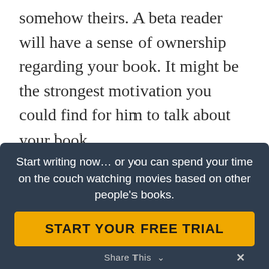somehow theirs. A beta reader will have a sense of ownership regarding your book. It might be the strongest motivation you could find for him to talk about your book.
Start writing now... or you can spend your time on the couch watching movies based on other people's books.
START YOUR FREE TRIAL
Share This  ∨